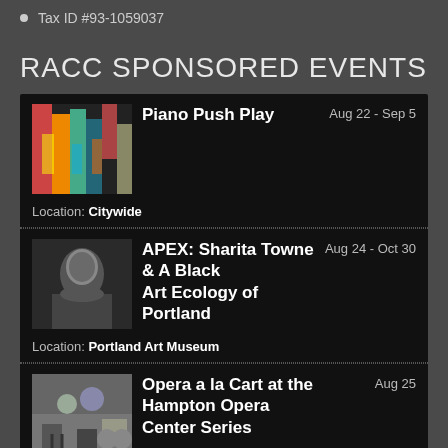Tax ID #93-1059037
RACC SPONSORED EVENTS
Piano Push Play  Aug 22 - Sep 5
Location: Citywide
APEX: Sharita Towne & A Black Art Ecology of Portland  Aug 24 - Oct 30
Location: Portland Art Museum
Opera a la Cart at the Hampton Opera Center Series  Aug 25
Location: Hampton Opera Center
Click here to search for more RACC Sponsored Events